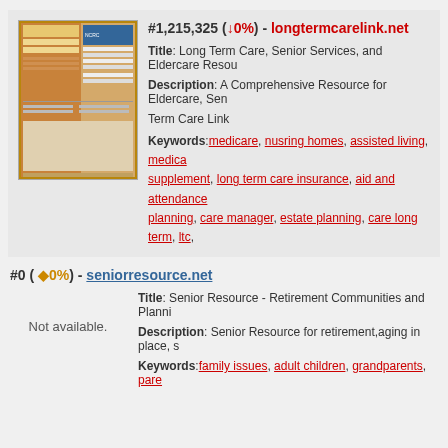#1,215,325 (↓0%) - longtermcarelink.net
Title: Long Term Care, Senior Services, and Eldercare Resou
Description: A Comprehensive Resource for Eldercare, Sen... Term Care Link
Keywords: medicare, nusring homes, assisted living, medica supplement, long term care insurance, aid and attendance planning, care manager, estate planning, care long term, ltc,
#0 (◆0%) - seniorresource.net
Title: Senior Resource - Retirement Communities and Planni
Not available.
Description: Senior Resource for retirement,aging in place, s
Keywords: family issues, adult children, grandparents, pare